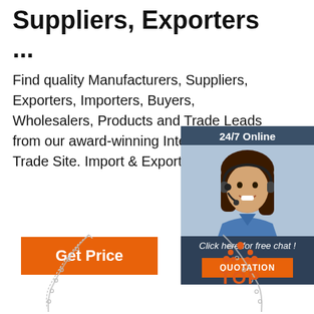Suppliers, Exporters ...
Find quality Manufacturers, Suppliers, Exporters, Importers, Buyers, Wholesalers, Products and Trade Leads from our award-winning International Trade Site. Import & Export on alibaba.c…
[Figure (infographic): Chat widget with agent photo, '24/7 Online' header, 'Click here for free chat!' text, and orange QUOTATION button]
[Figure (other): Orange Get Price button]
[Figure (photo): Silver chain necklace on left side, bottom of page]
[Figure (photo): Silver chain necklace on right side with orange TOP badge, bottom of page]